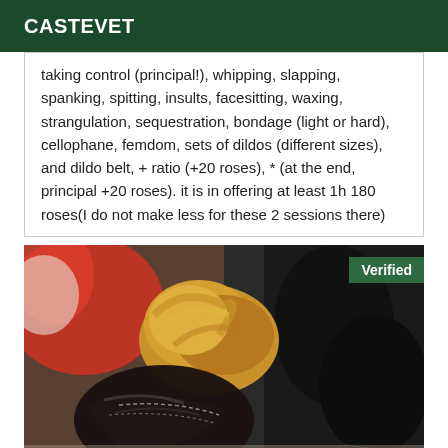CASTEVET
taking control (principal!), whipping, slapping, spanking, spitting, insults, facesitting, waxing, strangulation, sequestration, bondage (light or hard), cellophane, femdom, sets of dildos (different sizes), and dildo belt, + ratio (+20 roses), * (at the end, principal +20 roses). it is in offering at least 1h 180 roses(I do not make less for these 2 sessions there)
[Figure (photo): Photo of a person with blonde hair lying against dark leather boots/shoes, wearing dark shiny clothing. A 'Verified' badge appears in the top right corner of the image.]